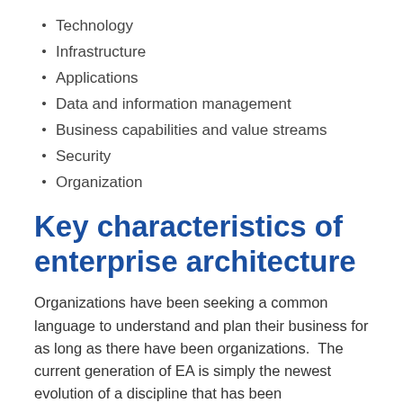Technology
Infrastructure
Applications
Data and information management
Business capabilities and value streams
Security
Organization
Key characteristics of enterprise architecture
Organizations have been seeking a common language to understand and plan their business for as long as there have been organizations.  The current generation of EA is simply the newest evolution of a discipline that has been